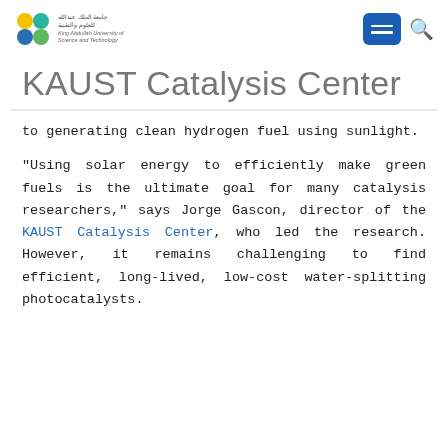KAUST logo and navigation
KAUST Catalysis Center
to generating clean hydrogen fuel using sunlight.
"Using solar energy to efficiently make green fuels is the ultimate goal for many catalysis researchers," says Jorge Gascon, director of the KAUST Catalysis Center, who led the research. However, it remains challenging to find efficient, long-lived, low-cost water-splitting photocatalysts.